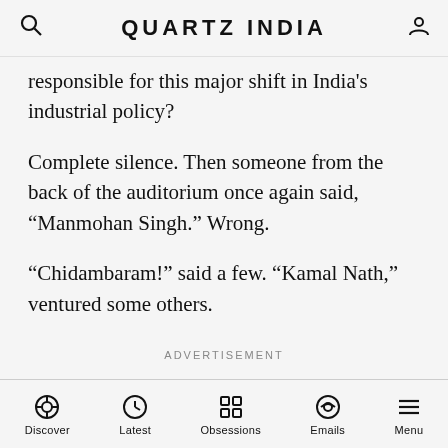QUARTZ INDIA
responsible for this major shift in India's industrial policy?
Complete silence. Then someone from the back of the auditorium once again said, “Manmohan Singh.” Wrong.
“Chidambaram!” said a few. “Kamal Nath,” ventured some others.
ADVERTISEMENT
Discover  Latest  Obsessions  Emails  Menu